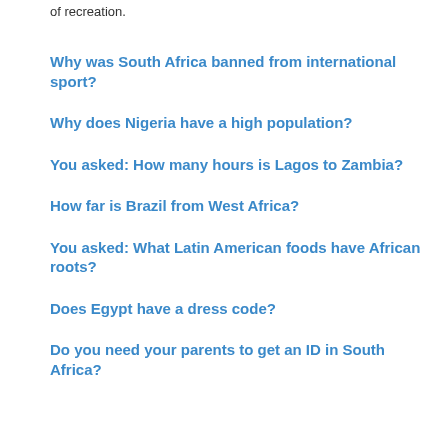of recreation.
Why was South Africa banned from international sport?
Why does Nigeria have a high population?
You asked: How many hours is Lagos to Zambia?
How far is Brazil from West Africa?
You asked: What Latin American foods have African roots?
Does Egypt have a dress code?
Do you need your parents to get an ID in South Africa?